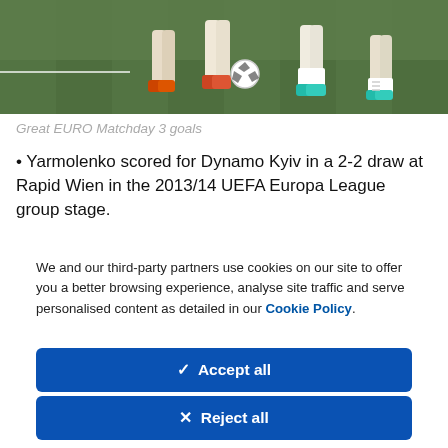[Figure (photo): Soccer players on a grass field, legs and feet visible, one player controlling a ball]
Great EURO Matchday 3 goals
• Yarmolenko scored for Dynamo Kyiv in a 2-2 draw at Rapid Wien in the 2013/14 UEFA Europa League group stage.
We and our third-party partners use cookies on our site to offer you a better browsing experience, analyse site traffic and serve personalised content as detailed in our Cookie Policy.
✓  Accept all
✕  Reject all
Cookie settings >